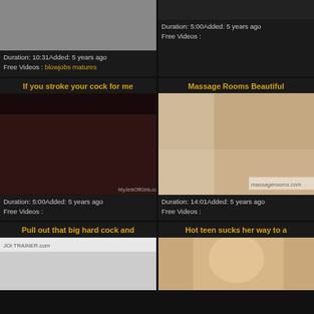[Figure (screenshot): Top-left video card partial: gray thumbnail, Duration: 10:31Added: 5 years ago, Free Videos: blowjobs matures]
[Figure (screenshot): Top-right video card partial: dark thumbnail, Duration: 5:00Added: 5 years ago, Free Videos]
[Figure (screenshot): Middle-left video card: title 'If you stroke your cock for me', thumbnail of adult content, Duration: 5:00Added: 5 years ago, Free Videos]
[Figure (screenshot): Middle-right video card: title 'Massage Rooms Beautiful', massage room thumbnail, Duration: 14:01Added: 5 years ago, Free Videos]
[Figure (screenshot): Bottom-left video card: title 'Pull out that big hard cock and', JOI TRAINER thumbnail]
[Figure (screenshot): Bottom-right video card: title 'Hot teen sucks her way to a', blonde thumbnail]